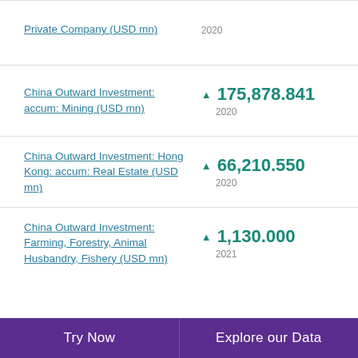Private Company (USD mn)
China Outward Investment: accum: Mining (USD mn) ▲ 175,878.841 2020
China Outward Investment: Hong Kong: accum: Real Estate (USD mn) ▲ 66,210.550 2020
China Outward Investment: Farming, Forestry, Animal Husbandry, Fishery (USD mn) ▲ 1,130.000 2021
Try Now    Explore our Data